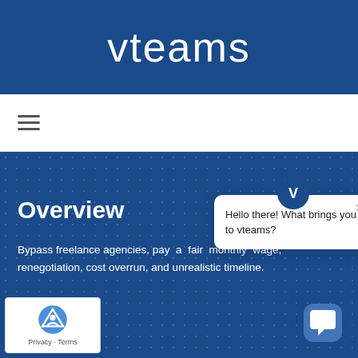vteams
[Figure (screenshot): Hamburger menu icon (three horizontal lines)]
Overview
Bypass freelance agencies, pay a fair monthly wage, renegotiation, cost overrun, and unrealistic timeline.
[Figure (screenshot): vteams chat widget with message: Hello there! What brings you to vteams?]
t We Do?
[Figure (screenshot): reCAPTCHA badge with Privacy and Terms links]
[Figure (screenshot): Chat bubble icon in bottom right corner]